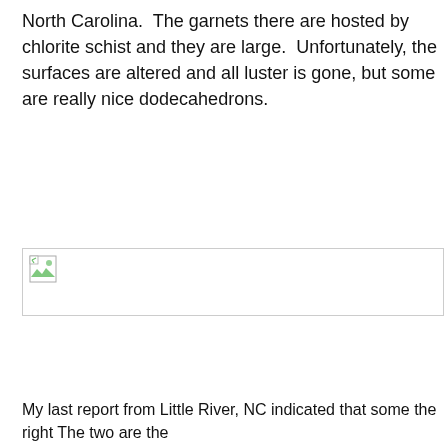North Carolina.  The garnets there are hosted by chlorite schist and they are large.  Unfortunately, the surfaces are altered and all luster is gone, but some are really nice dodecahedrons.
[Figure (photo): Broken/missing image placeholder icon shown as a small image with a torn-page icon in the top-left corner of a bordered rectangle]
My last report from Little River, NC indicated that some the right The two are the